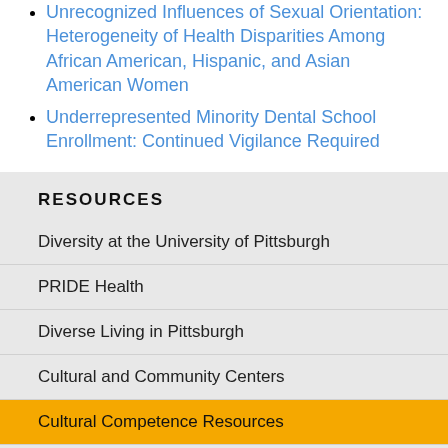Unrecognized Influences of Sexual Orientation: Heterogeneity of Health Disparities Among African American, Hispanic, and Asian American Women
Underrepresented Minority Dental School Enrollment: Continued Vigilance Required
RESOURCES
Diversity at the University of Pittsburgh
PRIDE Health
Diverse Living in Pittsburgh
Cultural and Community Centers
Cultural Competence Resources
National Diversity Initiatives
National Associations & Organizations